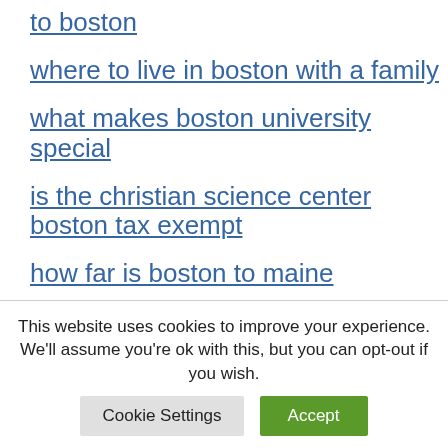to boston
where to live in boston with a family
what makes boston university special
is the christian science center boston tax exempt
how far is boston to maine
how long to drive from boston to portland maine
what does boston beer company need
This website uses cookies to improve your experience. We'll assume you're ok with this, but you can opt-out if you wish.